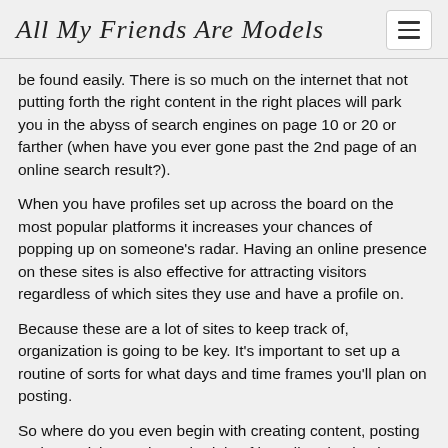All My Friends Are Models
be found easily. There is so much on the internet that not putting forth the right content in the right places will park you in the abyss of search engines on page 10 or 20 or farther (when have you ever gone past the 2nd page of an online search result?).
When you have profiles set up across the board on the most popular platforms it increases your chances of popping up on someone's radar. Having an online presence on these sites is also effective for attracting visitors regardless of which sites they use and have a profile on.
Because these are a lot of sites to keep track of, organization is going to be key. It's important to set up a routine of sorts for what days and time frames you'll plan on posting.
So where do you even begin with creating content, posting and organizing such a schedule of branding domination? You'll have to stick around for Part 4!